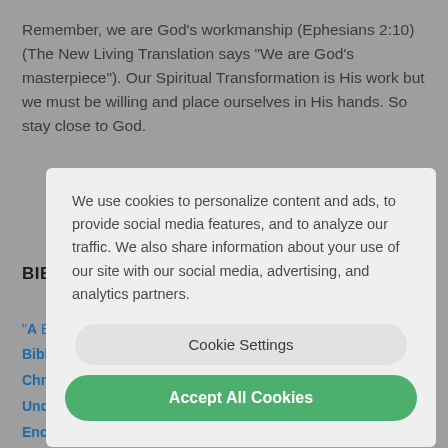Remember, we are God's workmanship (Ephesians 2:10) (The New Living Translation says "We are God's masterpiece"). Our Spiritual Transformation is His work but we must be willing and place ourselves in His hands. So stay close to God.
We use cookies to personalize content and ads, to provide social media features, and to analyze our traffic. We also share information about your use of our site with our social media, advertising, and analytics partners.
BIBLE STUDY RESOURCES
"A Bible Study Method", pdf
Bible Reading Schedule, pdf
Chronological Bible Schedule, pdf
Undated Bible Reading Checklist, pdf
Encounter #1 (DA), pfg